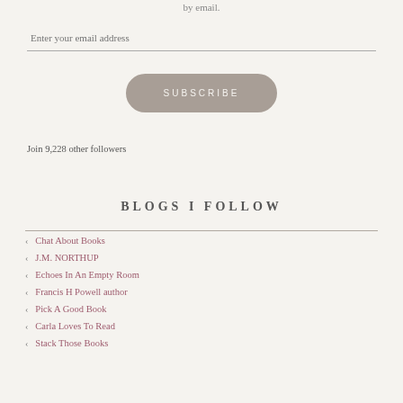by email.
Enter your email address
SUBSCRIBE
Join 9,228 other followers
BLOGS I FOLLOW
Chat About Books
J.M. NORTHUP
Echoes In An Empty Room
Francis H Powell author
Pick A Good Book
Carla Loves To Read
Stack Those Books